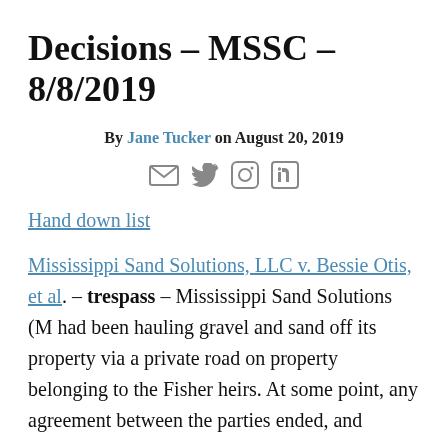Decisions – MSSC – 8/8/2019
By Jane Tucker on August 20, 2019
[Figure (other): Social share icons: email, Twitter, Facebook, LinkedIn]
Hand down list
Mississippi Sand Solutions, LLC v. Bessie Otis, et al. – trespass – Mississippi Sand Solutions (M had been hauling gravel and sand off its property via a private road on property belonging to the Fisher heirs. At some point, any agreement between the parties ended, and